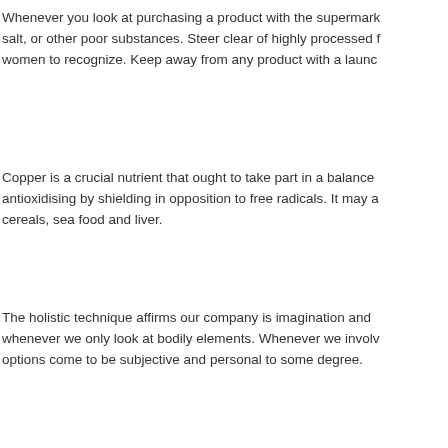Whenever you look at purchasing a product with the supermark salt, or other poor substances. Steer clear of highly processed f women to recognize. Keep away from any product with a launc
Copper is a crucial nutrient that ought to take part in a balance antioxidising by shielding in opposition to free radicals. It may a cereals, sea food and liver.
The holistic technique affirms our company is imagination and whenever we only look at bodily elements. Whenever we involv options come to be subjective and personal to some degree.